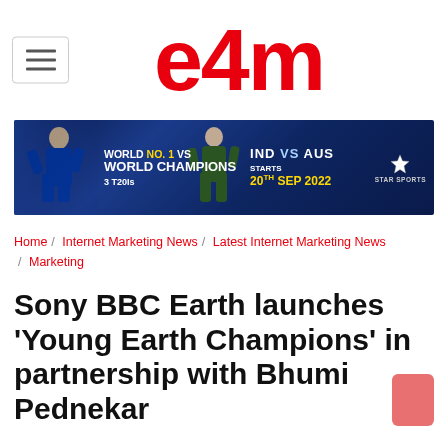e4m
[Figure (infographic): Star Sports advertisement banner: World No. 1 vs World Champions, IND vs AUS, Starts 20th Sep 2022, 3 T20Is]
Home / Internet Marketing News / Latest Internet Marketing News / Marketing
Sony BBC Earth launches 'Young Earth Champions' in partnership with Bhumi Pednekar